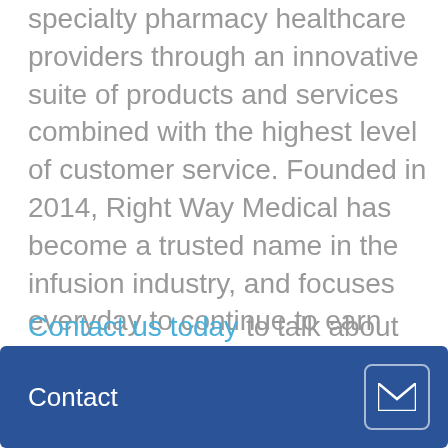specialty pharmacy healthcare providers through an innovative suite of products and services combined with the highest level of customer service. Founded in 2014, Right Way Medical has become a trusted name in the infusion industry, and focuses everyday to continue to earn that trust and provide its customers with the ideal experience in acquiring healthcare related products and service.
Contact us today to talk about how you can get started with our service and financing options.
Contact